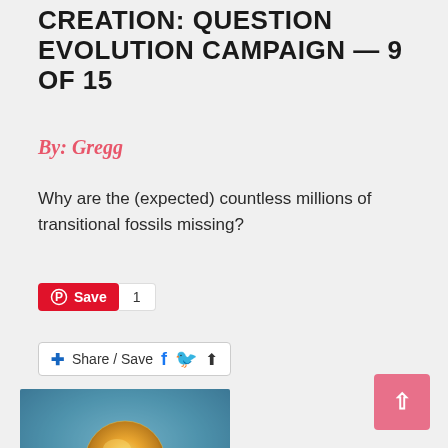CREATION: QUESTION EVOLUTION CAMPAIGN — 9 OF 15
By: Gregg
Why are the (expected) countless millions of transitional fossils missing?
[Figure (screenshot): Pinterest Save button with count of 1, and a Share/Save bar with Facebook, Twitter, and share icons]
[Figure (photo): Dark hands holding a glowing golden orb/sphere against a blue-grey background]
[Figure (other): Pink scroll-to-top button with upward arrow in bottom right corner]